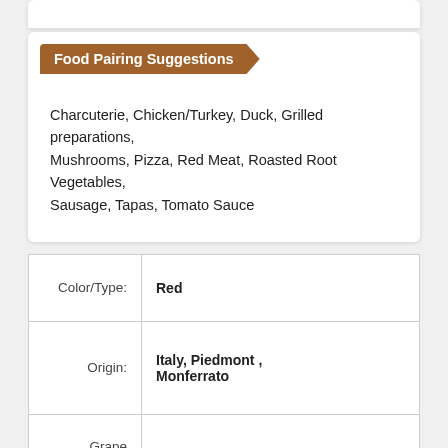Food Pairing Suggestions
Charcuterie, Chicken/Turkey, Duck, Grilled preparations, Mushrooms, Pizza, Red Meat, Roasted Root Vegetables, Sausage, Tapas, Tomato Sauce
| Label | Value |
| --- | --- |
| Color/Type: | Red |
| Origin: | Italy, Piedmont , Monferrato |
| Grape Varietal: | 100% Ruche |
| Eco-friendly: | Sustainable |